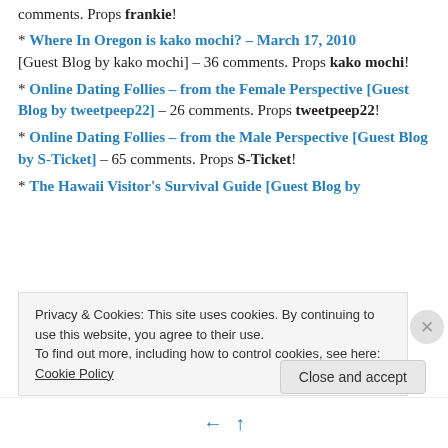comments. Props frankie!
* Where In Oregon is kako mochi? – March 17, 2010 [Guest Blog by kako mochi] – 36 comments. Props kako mochi!
* Online Dating Follies – from the Female Perspective [Guest Blog by tweetpeep22] – 26 comments. Props tweetpeep22!
* Online Dating Follies – from the Male Perspective [Guest Blog by S-Ticket] – 65 comments. Props S-Ticket!
* The Hawaii Visitor's Survival Guide [Guest Blog by
Privacy & Cookies: This site uses cookies. By continuing to use this website, you agree to their use. To find out more, including how to control cookies, see here: Cookie Policy